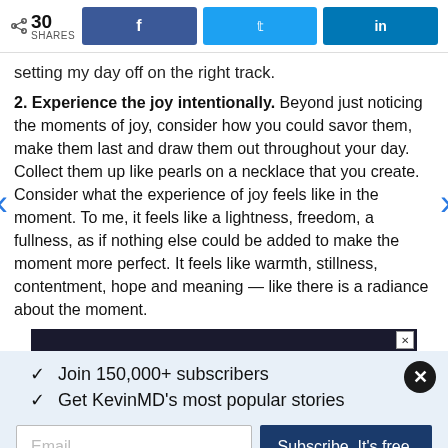30 SHARES | Share on Facebook | Share on Twitter | Share on LinkedIn
setting my day off on the right track.
2. Experience the joy intentionally. Beyond just noticing the moments of joy, consider how you could savor them, make them last and draw them out throughout your day. Collect them up like pearls on a necklace that you create. Consider what the experience of joy feels like in the moment. To me, it feels like a lightness, freedom, a fullness, as if nothing else could be added to make the moment more perfect. It feels like warmth, stillness, contentment, hope and meaning — like there is a radiance about the moment.
✓ Join 150,000+ subscribers
✓ Get KevinMD's most popular stories
Email
Subscribe. It's free.